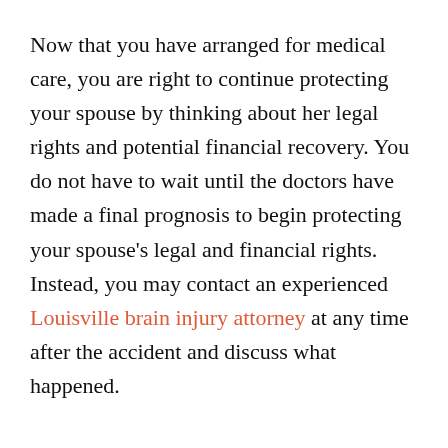Now that you have arranged for medical care, you are right to continue protecting your spouse by thinking about her legal rights and potential financial recovery. You do not have to wait until the doctors have made a final prognosis to begin protecting your spouse's legal and financial rights. Instead, you may contact an experienced Louisville brain injury attorney at any time after the accident and discuss what happened.